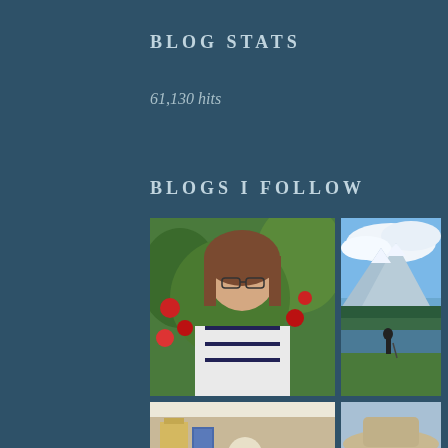BLOG STATS
61,130 hits
BLOGS I FOLLOW
[Figure (photo): Portrait photo of a woman with brown hair and glasses, wearing a white cardigan and striped top, standing in front of red flowers in a garden]
[Figure (photo): Landscape photo of a person standing by a mountain lake with a hiking pole, snow-capped mountains and clouds in background]
[Figure (photo): Photo of a skeleton figurine lying next to books and other objects on a table]
[Figure (photo): Portrait photo of a woman wearing sunglasses and a wide-brimmed hat, outdoors]